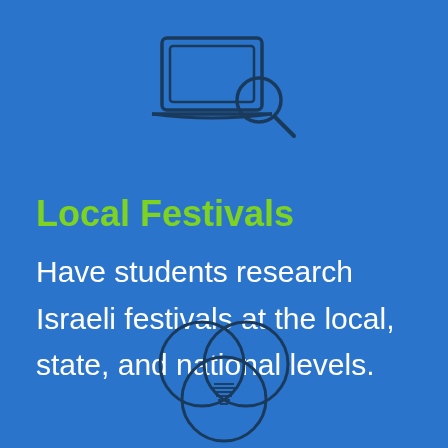[Figure (illustration): Laptop with magnifying glass search icon, outline style, dark navy on blue background]
Local Festivals
Have students research Israeli festivals at the local, state, and national levels.
[Figure (illustration): Three overlapping circles (Venn diagram) with horizontal lines in the center intersection, outline style, dark navy on blue background]